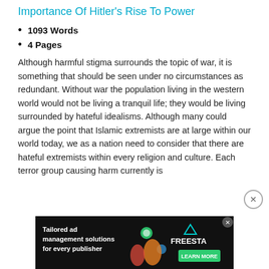Importance Of Hitler's Rise To Power
1093 Words
4 Pages
Although harmful stigma surrounds the topic of war, it is something that should be seen under no circumstances as redundant. Without war the population living in the western world would not be living a tranquil life; they would be living surrounded by hateful idealisms. Although many could argue the point that Islamic extremists are at large within our world today, we as a nation need to consider that there are hateful extremists within every religion and culture. Each terror group causing harm currently is
[Figure (screenshot): Advertisement banner for Freestar ad management solutions: dark background with illustrated figures and text 'Tailored ad management solutions for every publisher' with a green 'LEARN MORE' button and Freestar logo.]